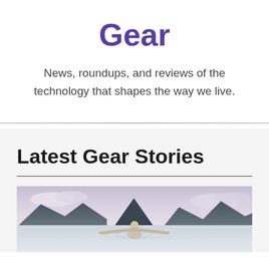Gear
News, roundups, and reviews of the technology that shapes the way we live.
Latest Gear Stories
[Figure (photo): Person swimming or floating in water with mountains and cloudy sky in the background, arms outstretched]